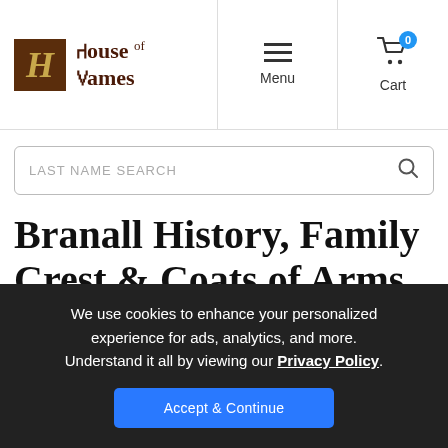House of Names — Menu, Cart (0)
LAST NAME SEARCH
Branall History, Family Crest & Coats of Arms
We use cookies to enhance your personalized experience for ads, analytics, and more. Understand it all by viewing our Privacy Policy.
Accept & Continue